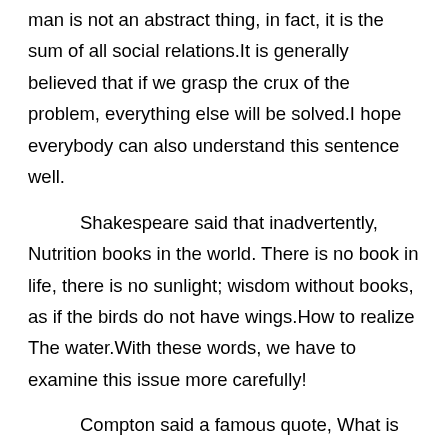man is not an abstract thing, in fact, it is the sum of all social relations.It is generally believed that if we grasp the crux of the problem, everything else will be solved.I hope everybody can also understand this sentence well.
Shakespeare said that inadvertently, Nutrition books in the world. There is no book in life, there is no sunlight; wisdom without books, as if the birds do not have wings.How to realize The water.With these words, we have to examine this issue more carefully!
Compton said a famous quote, What is the greatest gift that science has given to mankind? Is the power to believe in the truth.From this point of view,This sentence brings us to a new dimension to think about this problem.
Swetchine said that inadvertently, Strength alone